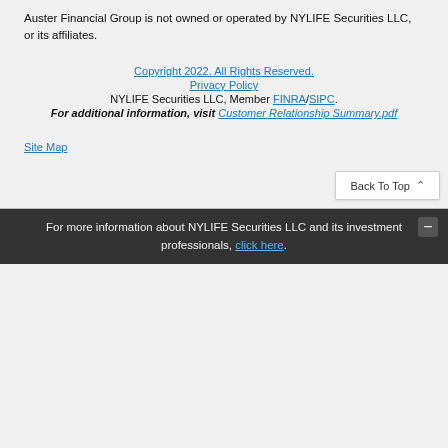Auster Financial Group is not owned or operated by NYLIFE Securities LLC, or its affiliates.
Copyright 2022. All Rights Reserved.
Privacy Policy
NYLIFE Securities LLC, Member FINRA/SIPC.
For additional information, visit Customer Relationship Summary.pdf
Site Map
Back To Top
For more information about NYLIFE Securities LLC and its investment professionals, click here.